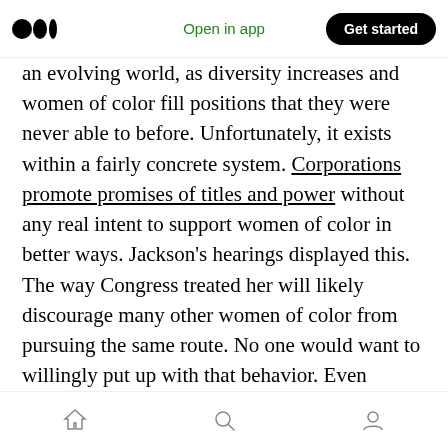Open in app | Get started
an evolving world, as diversity increases and women of color fill positions that they were never able to before. Unfortunately, it exists within a fairly concrete system. Corporations promote promises of titles and power without any real intent to support women of color in better ways. Jackson's hearings displayed this. The way Congress treated her will likely discourage many other women of color from pursuing the same route. No one would want to willingly put up with that behavior. Even though her confirmation is significant for w [clap icon] 150 | [comment icon] 2 rywhere, it doesn't provide a system where others could
Home | Search | Profile